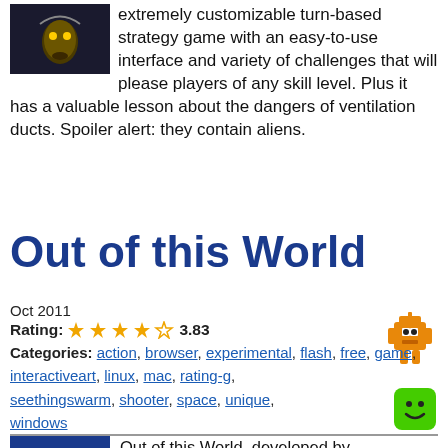extremely customizable turn-based strategy game with an easy-to-use interface and variety of challenges that will please players of any skill level. Plus it has a valuable lesson about the dangers of ventilation ducts. Spoiler alert: they contain aliens.
Out of this World
Oct 2011
Rating: 3.83
Categories: action, browser, experimental, flash, free, game, interactiveart, linux, mac, rating-g, seethingswarm, shooter, space, unique, windows
Out of this World, developed by SeethingSwarm, is a short action game centered around shifting play mechanics. The game starts as two lovers leave a fancy restaurant. They aren't named in-game, but since they look British, let's call them Ron and Hermione. Anyways, Ron and Hermione decide to go for a ride on their rocket ship, but, son of a gun, wouldn't you know it, aliens decide to kidnap